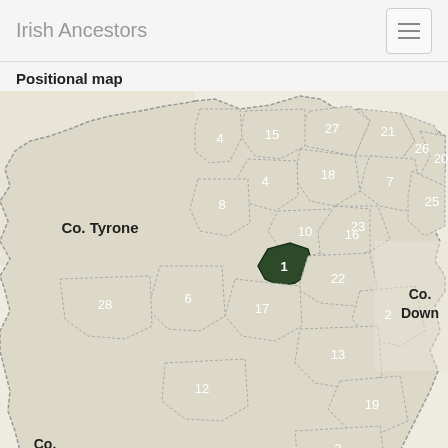Irish Ancestors
Positional map
[Figure (map): Positional map of Co. Tyrone parishes showing numbered regions (1-28) with parish 1 highlighted in dark green. Adjacent county labels: Co. Tyrone (left), Co. Down (right), Co. Monaghan (bottom left).]